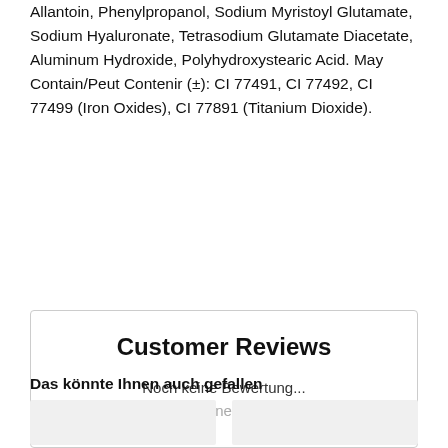Allantoin, Phenylpropanol, Sodium Myristoyl Glutamate, Sodium Hyaluronate, Tetrasodium Glutamate Diacetate, Aluminum Hydroxide, Polyhydroxystearic Acid. May Contain/Peut Contenir (±): CI 77491, CI 77492, CI 77499 (Iron Oxides), CI 77891 (Titanium Dioxide).
Customer Reviews
Noch keine Bewertung...
Schreibe eine Bewertung
Das könnte Ihnen auch gefallen
[Figure (photo): Product image placeholder (light gray rectangle)]
[Figure (photo): Product image placeholder (light gray rectangle)]